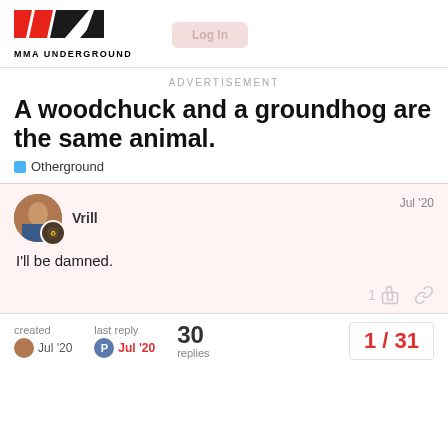[Figure (logo): MMA Underground logo with red and black diagonal stripes and text 'MMA UNDERGROUND']
ADVERTISEMENT
A woodchuck and a groundhog are the same animal.
Otherground
Vrill  Jul '20
I'll be damned.
1
created Jul '20  last reply Jul '20  30 replies  1 / 31